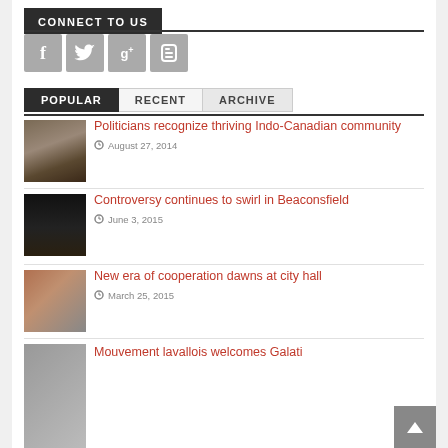CONNECT TO US
[Figure (infographic): Social media icons: Facebook, Twitter, Google+, Blogger]
POPULAR | RECENT | ARCHIVE
[Figure (photo): Group of men in suits]
Politicians recognize thriving Indo-Canadian community
August 27, 2014
[Figure (photo): Dark image, possibly a piano]
Controversy continues to swirl in Beaconsfield
June 3, 2015
[Figure (photo): Person at a desk]
New era of cooperation dawns at city hall
March 25, 2015
Mouvement lavallois welcomes Galati